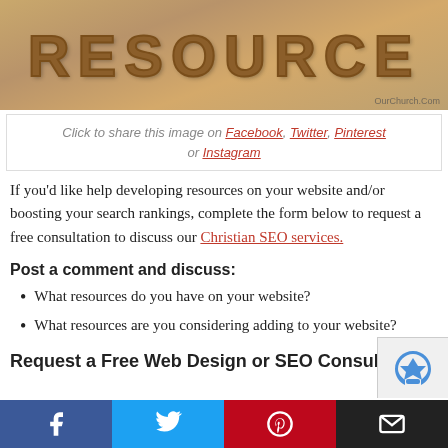[Figure (photo): Wooden 3D letters spelling RESOURCE on a wood grain background with OurChurch.Com watermark]
Click to share this image on Facebook, Twitter, Pinterest or Instagram
If you'd like help developing resources on your website and/or boosting your search rankings, complete the form below to request a free consultation to discuss our Christian SEO services.
Post a comment and discuss:
What resources do you have on your website?
What resources are you considering adding to your website?
Request a Free Web Design or SEO Consulta
[Figure (other): reCAPTCHA widget partial view]
Social share bar with Facebook, Twitter, Pinterest, Email buttons